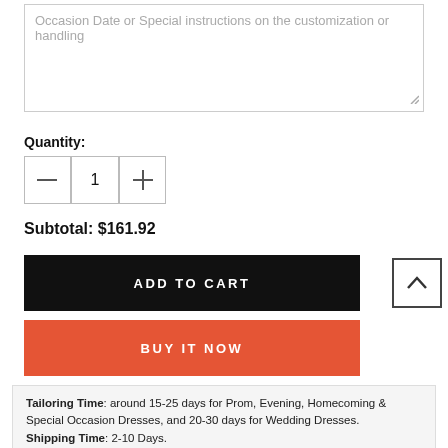[Figure (screenshot): Text area input box with placeholder text 'Occasion Date or Special instructions on the customization or handling']
Quantity:
[Figure (screenshot): Quantity stepper control with minus button, value 1, and plus button]
Subtotal: $161.92
[Figure (screenshot): ADD TO CART button (black background, white text)]
[Figure (screenshot): BUY IT NOW button (red/coral background, white text)]
[Figure (screenshot): Scroll to top button with upward chevron icon]
Tailoring Time: around 15-25 days for Prom, Evening, Homecoming & Special Occasion Dresses, and 20-30 days for Wedding Dresses. Shipping Time: 2-10 Days.